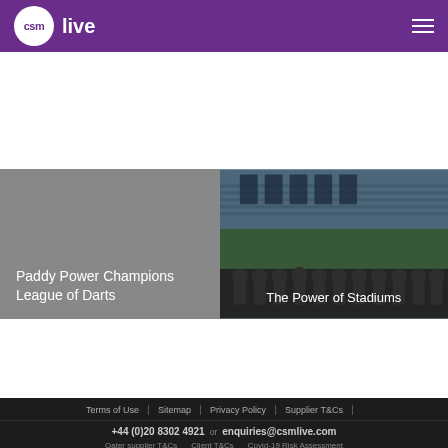csm live
[Figure (photo): Left panel: grey background with text 'Paddy Power Champions League of Darts']
Paddy Power Champions League of Darts
[Figure (photo): Right panel: stadium photo with group of people, text overlay 'The Power of Stadiums']
The Power of Stadiums
Terms of Use | Sitemap | Privacy Policy | Supplier T&Cs | +44 (0)20 8302 4921 or enquiries@csmlive.com | Qater supplier T&Cs | Client T&Cs | Covid-19 Risk Assessment | A division of CSM | A CHIME Company